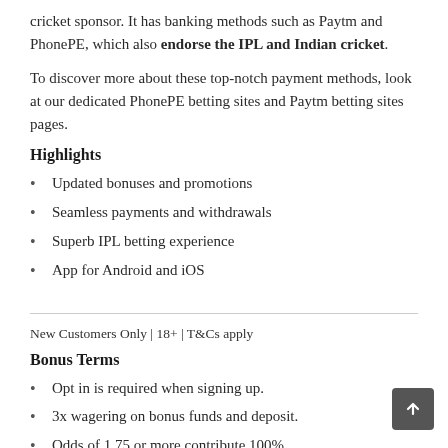cricket sponsor. It has banking methods such as Paytm and PhonePE, which also endorse the IPL and Indian cricket.
To discover more about these top-notch payment methods, look at our dedicated PhonePE betting sites and Paytm betting sites pages.
Highlights
Updated bonuses and promotions
Seamless payments and withdrawals
Superb IPL betting experience
App for Android and iOS
New Customers Only | 18+ | T&Cs apply
Bonus Terms
Opt in is required when signing up.
3x wagering on bonus funds and deposit.
Odds of 1.75 or more contribute 100%.